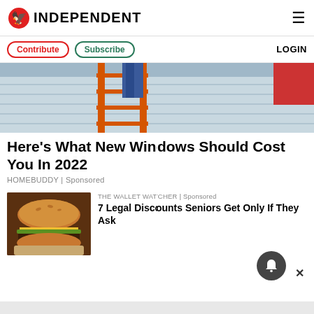INDEPENDENT
Contribute | Subscribe | LOGIN
[Figure (photo): Person working on a house exterior with an orange ladder]
Here's What New Windows Should Cost You In 2022
HOMEBUDDY | Sponsored
[Figure (photo): A cheeseburger on brown paper]
THE WALLET WATCHER | Sponsored
7 Legal Discounts Seniors Get Only If They Ask